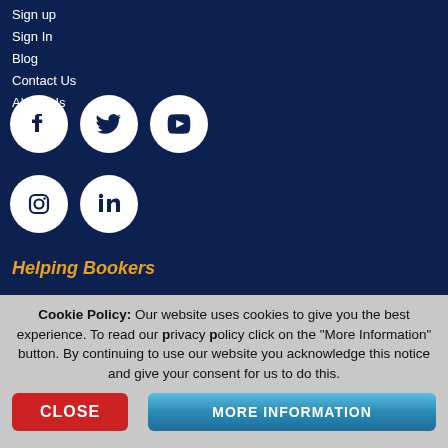Sign up
Sign In
Blog
Contact Us
About Us
[Figure (illustration): Social media icons: Facebook, Twitter, YouTube, Instagram, LinkedIn — white circles on dark navy background]
Helping Bookers
Cookie Policy: Our website uses cookies to give you the best experience. To read our privacy policy click on the "More Information" button. By continuing to use our website you acknowledge this notice and give your consent for us to do this.